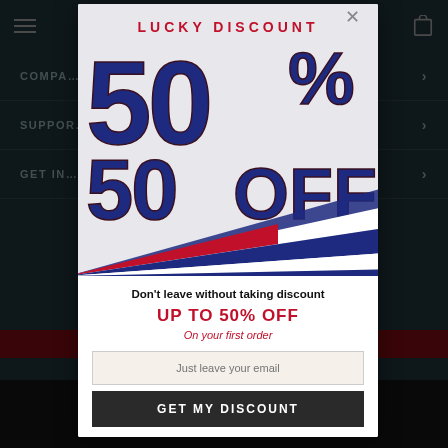[Figure (screenshot): E-commerce website navigation page with dark teal background showing hamburger menu, cart icon, and navigation items: COMPANY, SUPPORT, GET IN (contact)]
[Figure (infographic): Lucky Discount popup modal showing 50% OFF promotional graphic with red, white and navy blue design including diagonal stripes]
Don't leave without taking discount
UP TO 50% OFF
On your first order
Just leave your email
GET MY DISCOUNT